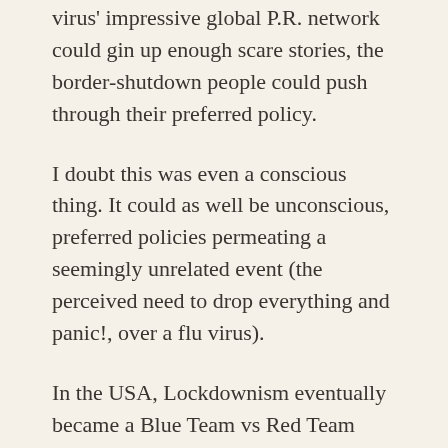virus' impressive global P.R. network could gin up enough scare stories, the border-shutdown people could push through their preferred policy.
I doubt this was even a conscious thing. It could as well be unconscious, preferred policies permeating a seemingly unrelated event (the perceived need to drop everything and panic!, over a flu virus).
In the USA, Lockdownism eventually became a Blue Team vs Red Team thing. This does not apply everywhere, and in many cases right-wing governments were fanatical Lockdowners (including the likes of Hungary), whereas the hero of the whole thing, Sweden, standing out within the OECD as the only national government to refuse to demagogue on